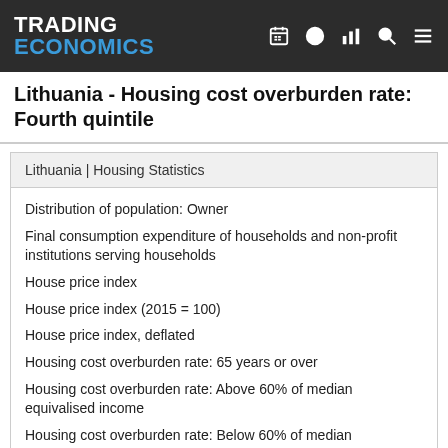TRADING ECONOMICS
Lithuania - Housing cost overburden rate: Fourth quintile
Lithuania | Housing Statistics
Distribution of population: Owner
Final consumption expenditure of households and non-profit institutions serving households
House price index
House price index (2015 = 100)
House price index, deflated
Housing cost overburden rate: 65 years or over
Housing cost overburden rate: Above 60% of median equivalised income
Housing cost overburden rate: Below 60% of median equivalised income
Housing cost overburden rate: Cities
Housing cost overburden rate: Females
Housing cost overburden rate: Fifth quintile